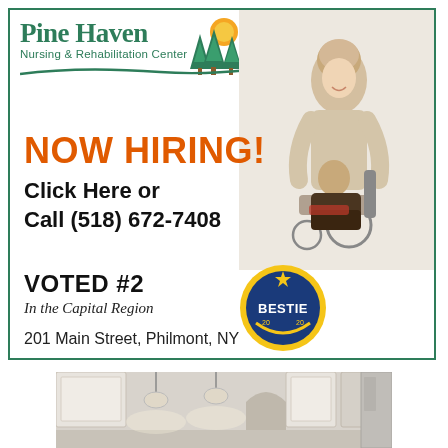[Figure (logo): Pine Haven Nursing & Rehabilitation Center logo with green pine trees, orange sun, and green swoosh]
[Figure (photo): Photo of a nurse assistant smiling and helping an elderly woman in a wheelchair]
NOW HIRING!
Click Here or
Call (518) 672-7408
VOTED #2
In the Capital Region
[Figure (logo): Bestie 2020 award badge - circular gold and blue badge]
201 Main Street, Philmont, NY
[Figure (photo): Interior photo of a kitchen with white cabinets and pendant lights]